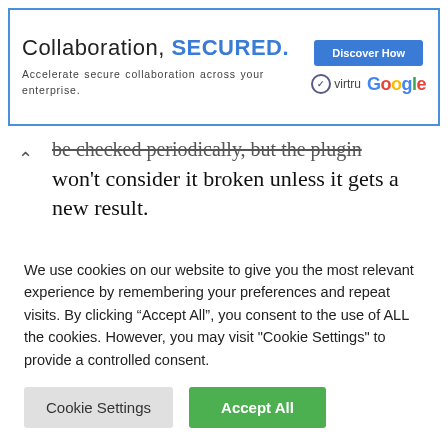[Figure (other): Advertisement banner with blue border. Text: 'Collaboration, SECURED.' and 'Accelerate secure collaboration across your enterprise.' with Virtru and Google logos and a blue 'Discover How' button.]
be checked periodically, but the plugin won't consider it broken unless it gets a new result.
Dismiss
Click Dismiss to hide the link Broken Link
We use cookies on our website to give you the most relevant experience by remembering your preferences and repeat visits. By clicking “Accept All”, you consent to the use of ALL the cookies. However, you may visit "Cookie Settings" to provide a controlled consent.
Cookie Settings | Accept All